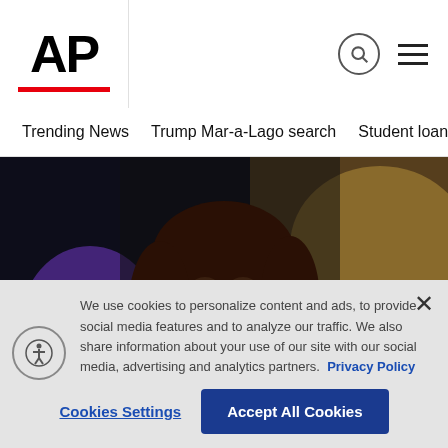AP
Trending News    Trump Mar-a-Lago search    Student loans    U.S.
[Figure (photo): Woman in bright pink/magenta satin jacket holding a microphone, singing on stage with colorful stage lighting behind her]
We use cookies to personalize content and ads, to provide social media features and to analyze our traffic. We also share information about your use of our site with our social media, advertising and analytics partners. Privacy Policy
Cookies Settings    Accept All Cookies